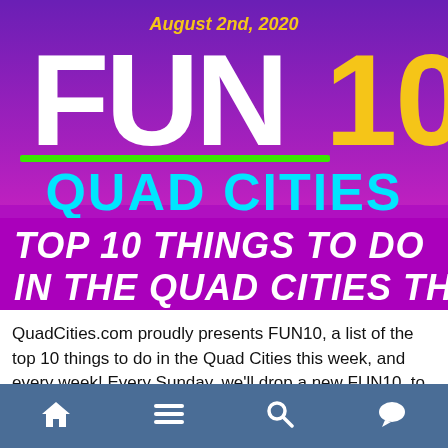[Figure (screenshot): Banner graphic for FUN10 Quad Cities. Purple/magenta gradient background. Top center: 'August 2nd, 2020' in yellow italic text. Large bold white text 'FUN' with large bold yellow '10'. Green horizontal divider line. Large bold cyan text 'QUAD CITIES'. Below on dark purple/magenta background: bold white italic text 'TOP 10 THINGS TO DO IN THE QUAD CITIES THIS WEEK'.]
QuadCities.com proudly presents FUN10, a list of the top 10 things to do in the Quad Cities this week, and every week! Every Sunday, we'll drop a new FUN10, to give you a head start on your week and a heads up on what's going on over the coming seven days. Check out FUN10 every Sunday for the details on ten awesome events happening around town. It's a cool
Navigation bar with home, menu, search, and chat icons